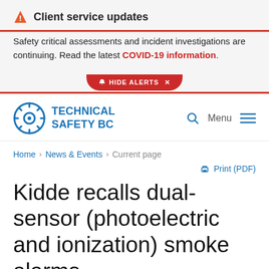⚠ Client service updates
Safety critical assessments and incident investigations are continuing. Read the latest COVID-19 information.
[Figure (screenshot): Hide Alerts button (red pill-shaped button with bell icon and X)]
[Figure (logo): Technical Safety BC gear logo with text TECHNICAL SAFETY BC in blue]
Home > News & Events > Current page
🖨 Print (PDF)
Kidde recalls dual-sensor (photoelectric and ionization) smoke alarms